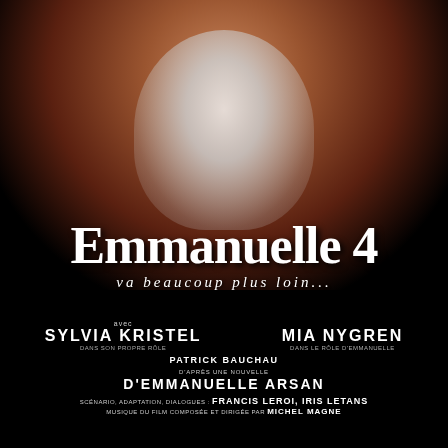[Figure (photo): Movie poster for Emmanuelle 4 on black background showing title text and credits]
Share  Tweet  Pin  Mail
★★★★☆ ℹ 34 Votes
[Figure (photo): Second movie poster preview with dark background and text ALAIN SIRITZKY présente]